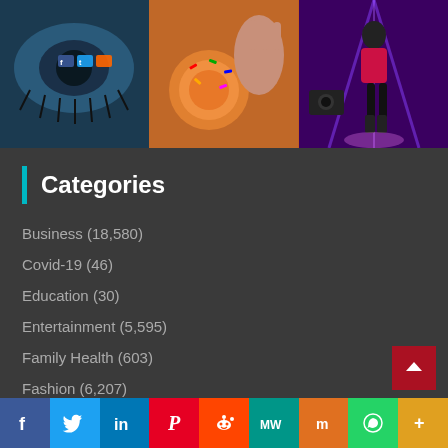[Figure (photo): Three images side by side: close-up of an eye with social media logos reflected, hand touching colorful donuts, performer on stage with purple lighting]
Categories
Business (18,580)
Covid-19 (46)
Education (30)
Entertainment (5,595)
Family Health (603)
Fashion (6,207)
Game (8,138)
Health (4,458)
NASA News (200)
Social share bar: Facebook, Twitter, LinkedIn, Pinterest, Reddit, MW, Mix, WhatsApp, More